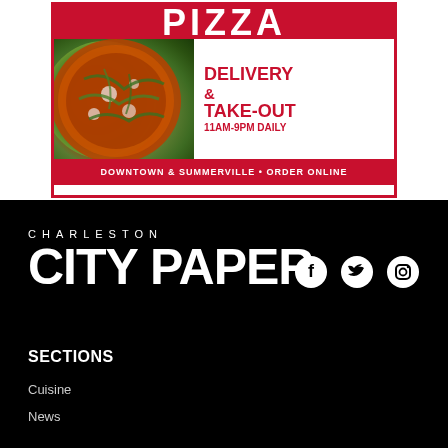[Figure (illustration): Pizza restaurant advertisement banner with red and white design. Shows text 'PIZZA' at top in large white letters on red background, a photo of a pizza with green toppings on left side, and text 'DELIVERY & TAKE-OUT 11AM-9PM DAILY' in red on white on right side. Bottom red banner reads 'DOWNTOWN & SUMMERVILLE • ORDER ONLINE'.]
[Figure (logo): Charleston City Paper logo in white on black background, with 'CHARLESTON' in small spaced letters above 'CITY PAPER' in large bold white uppercase letters. Three social media icons (Facebook, Twitter, Instagram) appear to the right.]
SECTIONS
Cuisine
News